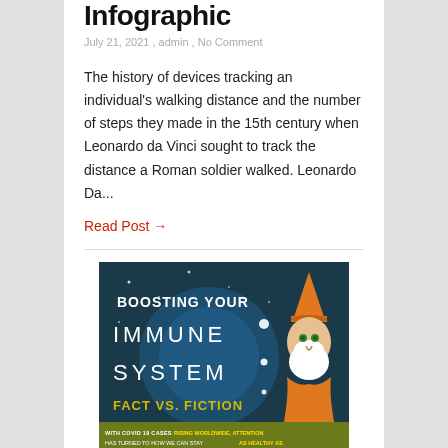Infographic
July 21, 2021 , admin , No Comment
The history of devices tracking an individual's walking distance and the number of steps they made in the 15th century when Leonardo da Vinci sought to track the distance a Roman soldier walked. Leonardo Da...
Read Post →
[Figure (infographic): Boosting Your Immune System: Fact vs. Fiction infographic. Dark teal/navy background with white dot-letter typography spelling out the title. Features an illustrated wizard/magician character with orange hat and white mask on the right side. Bottom banner reads 'WITH COVID 19 CASES RISING WORLDWIDE, ATTENTION HAS TURNED TO HOW WE CAN STAY AS HEALTHY AS...' in yellow/white text on olive-green background.]